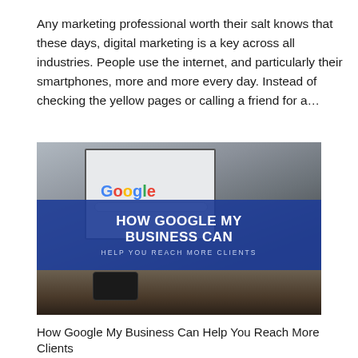Any marketing professional worth their salt knows that these days, digital marketing is a key across all industries. People use the internet, and particularly their smartphones, more and more every day. Instead of checking the yellow pages or calling a friend for a...
[Figure (photo): Photo of a laptop on a desk showing the Google homepage, with a blue banner overlay reading 'HOW GOOGLE MY BUSINESS CAN' in bold white letters and 'HELP YOU REACH MORE CLIENTS' below. A hand is visible at the keyboard and a smartphone lies on the desk.]
How Google My Business Can Help You Reach More Clients